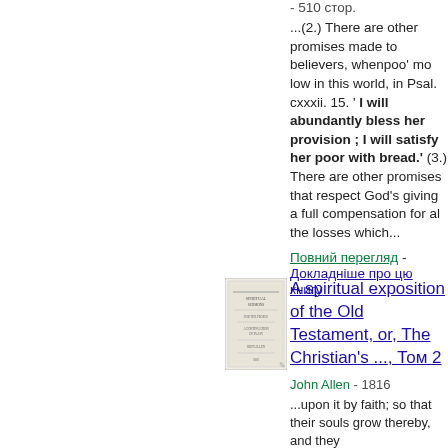- 510 стор.
...(2.) There are other promises made to believers, whenpoo' mo low in this world, in Psal. cxxxii. 15. ' I will abundantly bless her provision ; I will satisfy her poor with bread.' (3.) There are other promises that respect God's giving a full compensation for al the losses which...
Повний перегляд -
Докладніше про цю книгу
[Figure (illustration): Thumbnail image of a book cover page with small text]
A spiritual exposition of the Old Testament, or, The Christian's ..., Том 2
John Allen - 1816
...upon it by faith; so that their souls grow thereby, and they